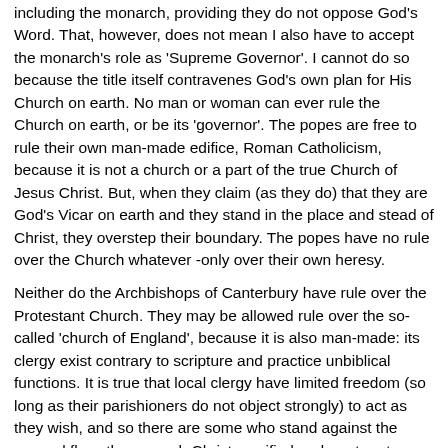including the monarch, providing they do not oppose God's Word. That, however, does not mean I also have to accept the monarch's role as 'Supreme Governor'. I cannot do so because the title itself contravenes God's own plan for His Church on earth. No man or woman can ever rule the Church on earth, or be its 'governor'. The popes are free to rule their own man-made edifice, Roman Catholicism, because it is not a church or a part of the true Church of Jesus Christ. But, when they claim (as they do) that they are God's Vicar on earth and they stand in the place and stead of Christ, they overstep their boundary. The popes have no rule over the Church whatever -only over their own heresy.
Neither do the Archbishops of Canterbury have rule over the Protestant Church. They may be allowed rule over the so-called 'church of England', because it is also man-made: its clergy exist contrary to scripture and practice unbiblical functions. It is true that local clergy have limited freedom (so long as their parishioners do not object strongly) to act as they wish, and so there are some who stand against the general flow: they preach Christ crucified and are true to God. Nevertheless, this does not clear up the objection that they belong to an apostate denomination under the overall 'rule' (however esoteric) of archbishops and a 'Supreme Governor'.